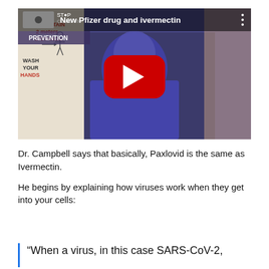[Figure (screenshot): YouTube video thumbnail showing a man in a blue shirt with glasses, sitting in front of a COVID-19 prevention poster. The video title reads 'New Pfizer drug and ivermectin'. A red YouTube play button is overlaid in the center.]
Dr. Campbell says that basically, Paxlovid is the same as Ivermectin.
He begins by explaining how viruses work when they get into your cells:
“When a virus, in this case SARS-CoV-2,